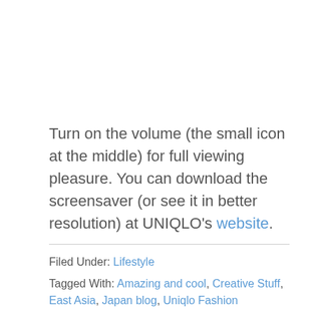Turn on the volume (the small icon at the middle) for full viewing pleasure. You can download the screensaver (or see it in better resolution) at UNIQLO's website.
Filed Under: Lifestyle
Tagged With: Amazing and cool, Creative Stuff, East Asia, Japan blog, Uniqlo Fashion